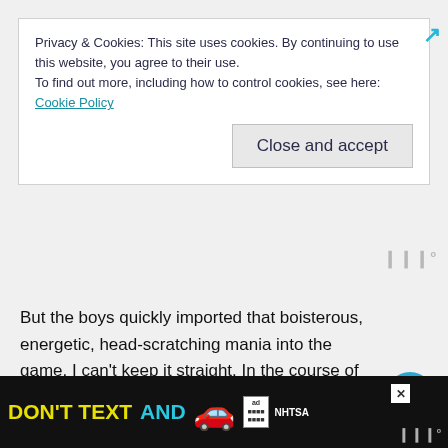Privacy & Cookies: This site uses cookies. By continuing to use this website, you agree to their use.
To find out more, including how to control cookies, see here: Cookie Policy
Close and accept
But the boys quickly imported that boisterous, energetic, head-scratching mania into the game. I can't keep it straight. In the course of just four hours, Jon had joined our clan twice, been promoted by his brother, demoted once and kicked out of the clan twice. That's a lot of politics. And it's gone on like that for days weeks.
The Clash of the Clans experiment hasn't really turned out the way I expected. I thought it would be a way to connect with my boys, but with
[Figure (screenshot): Bottom advertisement bar: DON'T TEXT AND [car emoji] ad with NHTSA logo on black background]